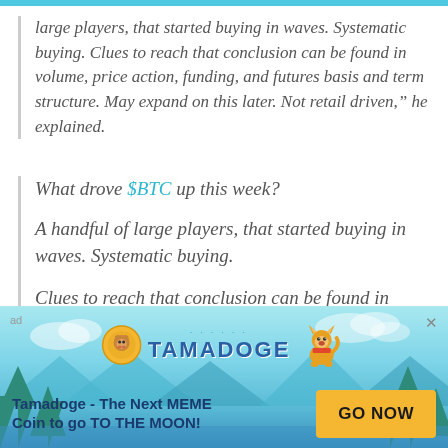large players, that started buying in waves. Systematic buying. Clues to reach that conclusion can be found in volume, price action, funding, and futures basis and term structure. May expand on this later. Not retail driven," he explained.
What drove $BTC up this week?
A handful of large players, that started buying in waves. Systematic buying.
Clues to reach that conclusion can be found in volume, price action, funding, and futures basis and term structure. May expand on this later.
[Figure (other): Tamadoge advertisement banner with logo, dog mascot, tagline 'Tamadoge - The Next MEME Coin to go TO THE MOON!' and a 'GO NOW' button]